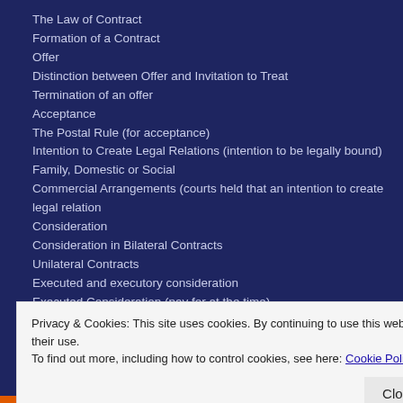The Law of Contract
Formation of a Contract
Offer
Distinction between Offer and Invitation to Treat
Termination of an offer
Acceptance
The Postal Rule (for acceptance)
Intention to Create Legal Relations (intention to be legally bound)
Family, Domestic or Social
Commercial Arrangements (courts held that an intention to create legal relation
Consideration
Consideration in Bilateral Contracts
Unilateral Contracts
Executed and executory consideration
Executed Consideration (pay for at the time)
Executory Consideration (pay for it at a later date/time)
Privacy & Cookies: This site uses cookies. By continuing to use this website, you agree to their use.
To find out more, including how to control cookies, see here: Cookie Policy
Close and accept
Advertisements